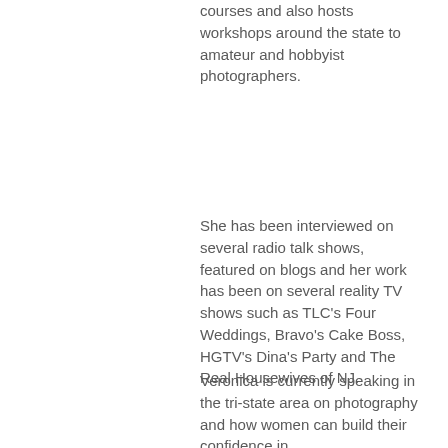courses and also hosts workshops around the state to amateur and hobbyist photographers.
She has been interviewed on several radio talk shows, featured on blogs and her work has been on several reality TV shows such as TLC's Four Weddings, Bravo's Cake Boss, HGTV's Dina's Party and The Real Housewives of NJ.
Veronica is currently speaking in the tri-state area on photography and how women can build their confidence in